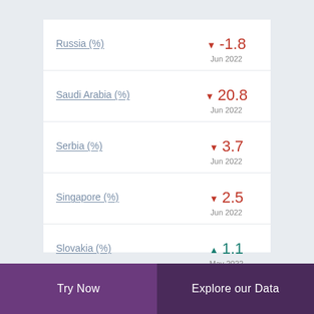Russia (%) ▼ -1.8 Jun 2022
Saudi Arabia (%) ▼ 20.8 Jun 2022
Serbia (%) ▼ 3.7 Jun 2022
Singapore (%) ▼ 2.5 Jun 2022
Slovakia (%) ▲ 1.1 May 2022
Try Now | Explore our Data